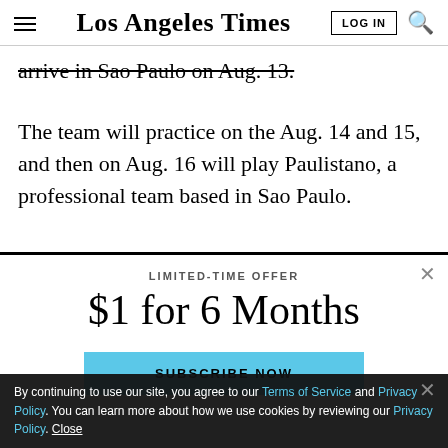Los Angeles Times
arrive in Sao Paulo on Aug. 13.
The team will practice on the Aug. 14 and 15, and then on Aug. 16 will play Paulistano, a professional team based in Sao Paulo.
LIMITED-TIME OFFER
$1 for 6 Months
SUBSCRIBE NOW
By continuing to use our site, you agree to our Terms of Service and Privacy Policy. You can learn more about how we use cookies by reviewing our Privacy Policy. Close